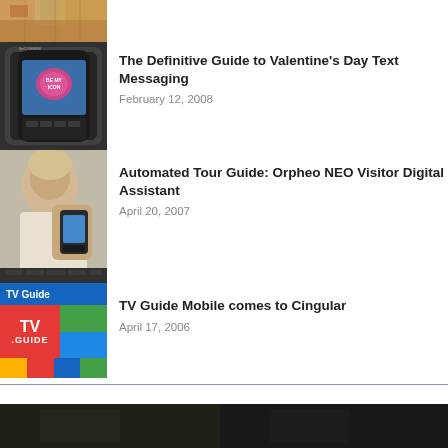[Figure (photo): Partial top image, cropped]
The Definitive Guide to Valentine's Day Text Messaging
February 12, 2008
Automated Tour Guide: Orpheo NEO Visitor Digital Assistant
April 20, 2007
TV Guide Mobile comes to Cingular
April 17, 2006
VIDEOS
[Figure (photo): Bottom dark photo strip]